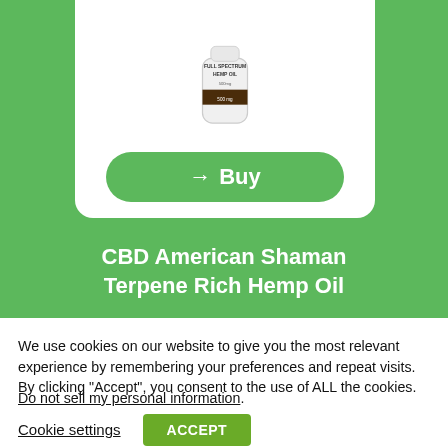[Figure (photo): Product card on green background showing a bottle of Full Spectrum Hemp Oil with a green Buy button]
CBD American Shaman Terpene Rich Hemp Oil
We use cookies on our website to give you the most relevant experience by remembering your preferences and repeat visits. By clicking “Accept”, you consent to the use of ALL the cookies.
Do not sell my personal information.
Cookie settings
ACCEPT